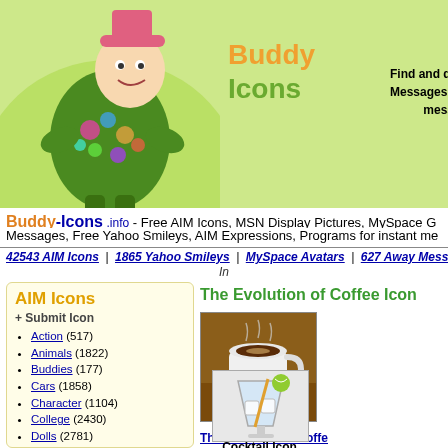[Figure (screenshot): Website header with Buddy Icons logo illustration and green background with text]
Buddy Icons - Find and download Buddy Icons, Smileys, Messages, Expressions and Programs for messangers!
Buddy-Icons.info - Free AIM Icons, MSN Display Pictures, MySpace G... Messages, Free Yahoo Smileys, AIM Expressions, Programs for instant me...
42543 AIM Icons | 1865 Yahoo Smileys | MySpace Avatars | 627 Away Messages | 11 AIM E... In
AIM Icons
+ Submit Icon
Action (517)
Animals (1822)
Buddies (177)
Cars (1858)
Character (1104)
College (2430)
Dolls (2781)
Drinking (80)
Fantasy (605)
Flags (400)
Food (177)
Games (1246)
Holiday (1506)
Life (4131)
Love (1078)
Movies (8581)
Music (1520)
Names (1045)
Other (663)
The Evolution of Coffee Icon
[Figure (photo): Photo of a cup of coffee on a saucer]
The Evolution of Coffe... Drinking A cup of coff... Submitted by buddy a...
Downloaded 4821 time...
Icon Tools
Install icon in AIM
[Figure (photo): Cocktail Icon image showing a glass with lime]
Cocktail Icon